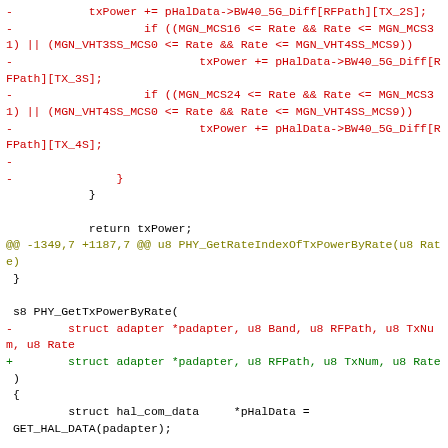Code diff showing removal and addition of lines in PHY_GetTxPowerByRate function, including BW40_5G_Diff array accesses and function signature change removing u8 Band parameter.